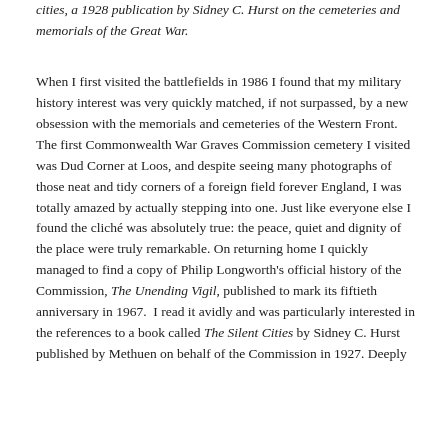cities, a 1928 publication by Sidney C. Hurst on the cemeteries and memorials of the Great War.
When I first visited the battlefields in 1986 I found that my military history interest was very quickly matched, if not surpassed, by a new obsession with the memorials and cemeteries of the Western Front. The first Commonwealth War Graves Commission cemetery I visited was Dud Corner at Loos, and despite seeing many photographs of those neat and tidy corners of a foreign field forever England, I was totally amazed by actually stepping into one. Just like everyone else I found the cliché was absolutely true: the peace, quiet and dignity of the place were truly remarkable. On returning home I quickly managed to find a copy of Philip Longworth's official history of the Commission, The Unending Vigil, published to mark its fiftieth anniversary in 1967. I read it avidly and was particularly interested in the references to a book called The Silent Cities by Sidney C. Hurst published by Methuen on behalf of the Commission in 1927. Deeply